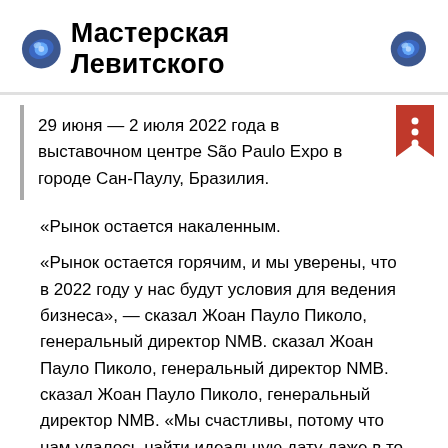🔵 Мастерская Левитского 🔵
29 июня — 2 июля 2022 года в выставочном центре São Paulo Expo в городе Сан-Паулу, Бразилия.
«Рынок остается накаленным.
«Рынок остается горячим, и мы уверены, что в 2022 году у нас будут условия для ведения бизнеса», — сказал Жоан Пауло Пиколо, генеральный директор NMB. сказал Жоан Пауло Пиколо, генеральный директор NMB. сказал Жоан Пауло Пиколо, генеральный директор NMB. «Мы счастливы, потому что нам удалось найти идеальную дату даже в то время, когда многие мероприятия были перенесены, а календарь выставочных центров пользуется большим